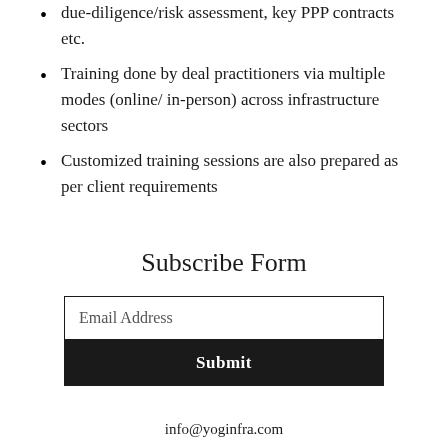due-diligence/risk assessment, key PPP contracts etc.
Training done by deal practitioners via multiple modes (online/ in-person) across infrastructure sectors
Customized training sessions are also prepared as per client requirements
Subscribe Form
Email Address
Submit
info@yoginfra.com